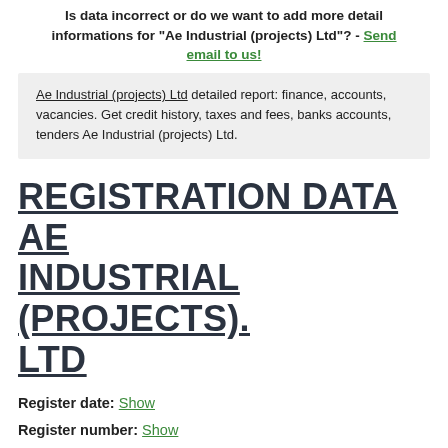Is data incorrect or do we want to add more detail informations for "Ae Industrial (projects) Ltd"? - Send email to us!
Ae Industrial (projects) Ltd detailed report: finance, accounts, vacancies. Get credit history, taxes and fees, banks accounts, tenders Ae Industrial (projects) Ltd.
REGISTRATION DATA AE INDUSTRIAL (PROJECTS). LTD
Register date: Show
Register number: Show
Capital: Show
Sales per year: Show
Employees: Show